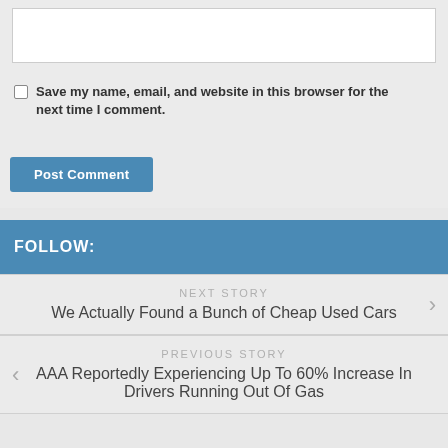[text input field]
Save my name, email, and website in this browser for the next time I comment.
Post Comment
FOLLOW:
NEXT STORY
We Actually Found a Bunch of Cheap Used Cars
PREVIOUS STORY
AAA Reportedly Experiencing Up To 60% Increase In Drivers Running Out Of Gas